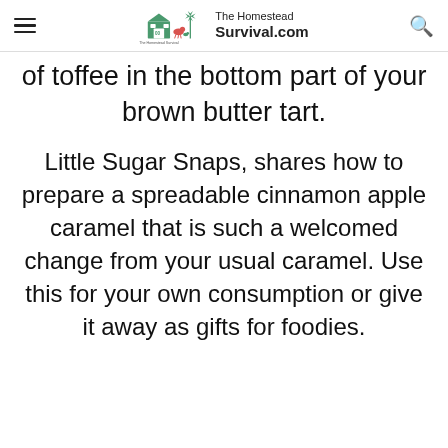The Homestead Survival.com
of toffee in the bottom part of your brown butter tart.
Little Sugar Snaps, shares how to prepare a spreadable cinnamon apple caramel that is such a welcomed change from your usual caramel. Use this for your own consumption or give it away as gifts for foodies.